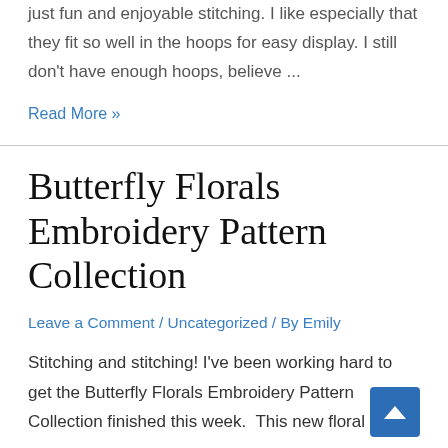just fun and enjoyable stitching. I like especially that they fit so well in the hoops for easy display. I still don't have enough hoops, believe ...
Read More »
Butterfly Florals Embroidery Pattern Collection
Leave a Comment / Uncategorized / By Emily
Stitching and stitching! I've been working hard to get the Butterfly Florals Embroidery Pattern Collection finished this week.  This new floral